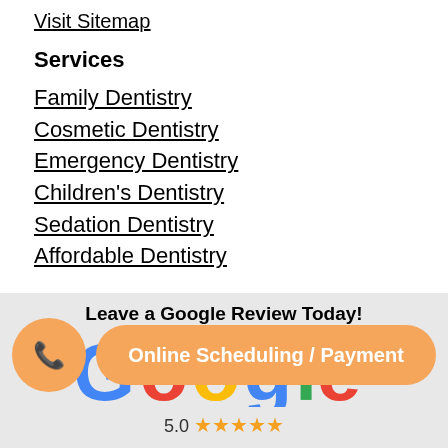Visit Sitemap
Services
Family Dentistry
Cosmetic Dentistry
Emergency Dentistry
Children's Dentistry
Sedation Dentistry
Affordable Dentistry
Leave a Google Review Today!
[Figure (logo): Google logo with colored letters and 5.0 star rating]
Online Scheduling / Payment